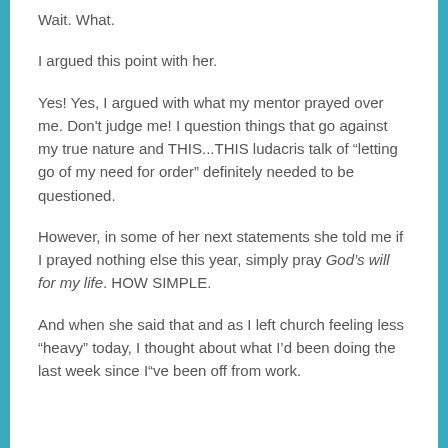Wait. What.
I argued this point with her.
Yes! Yes, I argued with what my mentor prayed over me. Don't judge me! I question things that go against my true nature and THIS...THIS ludacris talk of “letting go of my need for order” definitely needed to be questioned.
However, in some of her next statements she told me if I prayed nothing else this year, simply pray God’s will for my life. HOW SIMPLE.
And when she said that and as I left church feeling less “heavy” today, I thought about what I’d been doing the last week since I"ve been off from work.